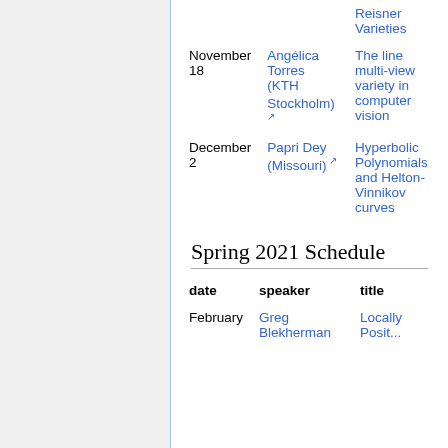| date | speaker | title |
| --- | --- | --- |
|  |  | Reisner Varieties |
| November 18 | Angélica Torres (KTH Stockholm) | The line multi-view variety in computer vision |
| December 2 | Papri Dey (Missouri) | Hyperbolic Polynomials and Helton-Vinnikov curves |
Spring 2021 Schedule
| date | speaker | title |
| --- | --- | --- |
| February | Greg Blekherman | Locally Posit... |